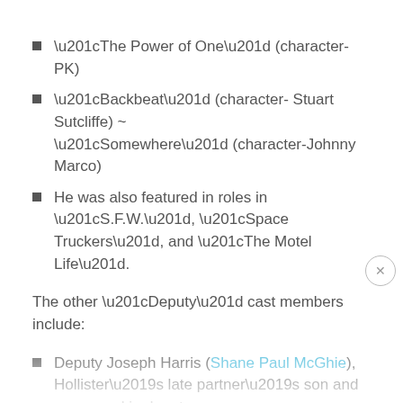“The Power of One” (character-PK)
“Backbeat” (character- Stuart Sutcliffe) ~ “Somewhere” (character-Johnny Marco)
He was also featured in roles in “S.F.W.”, “Space Truckers”, and “The Motel Life”.
The other “Deputy” cast members include:
Deputy Joseph Harris (Shane Paul McGhie), Hollister’s late partner’s son and now a rookie deputy,
Deputy Rachel Delgado (Siena Goines),
Undersheriff Jerry London (Mark Moses), one competitor for the job of Sheriff,
De Paula Bravo (Yara Martinez), Hollister...